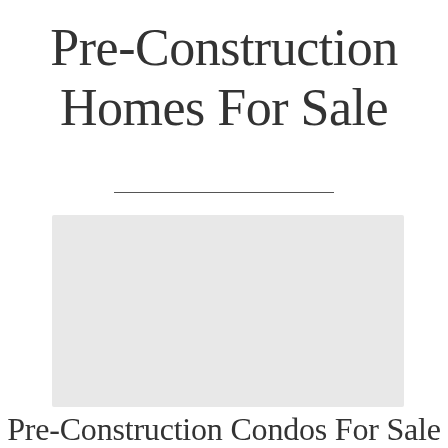Pre-Construction Homes For Sale
[Figure (photo): A faded/watermarked image of a pre-construction home or building, shown as a light gray placeholder image block]
Pre-Construction Condos For Sale